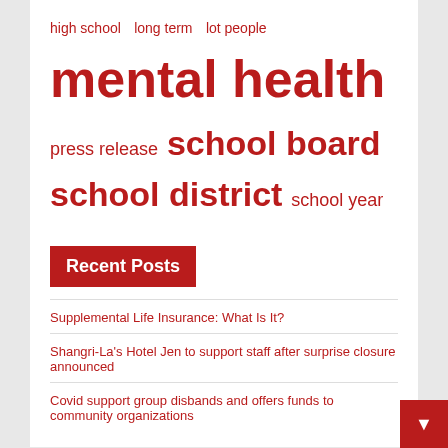[Figure (other): Tag cloud with education/support related terms in red at varying sizes: high school, long term, lot people, mental health, press release, school board, school district, school year, support groups, support staff, united states]
Recent Posts
Supplemental Life Insurance: What Is It?
Shangri-La's Hotel Jen to support staff after surprise closure announced
Covid support group disbands and offers funds to community organizations